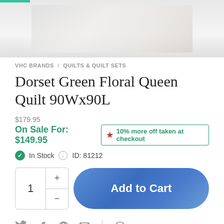[Figure (photo): Product image of Dorset Green Floral Queen Quilt, light/cream colored textile]
VHC BRANDS / QUILTS & QUILT SETS
Dorset Green Floral Queen Quilt 90Wx90L
$179.95
On Sale For: $149.95  ★ 10% more off taken at checkout
✔ In Stock  ⓘ ID: 81212
1  +  −  Add to Cart
🐦 f 𝗣 ✉ | ?